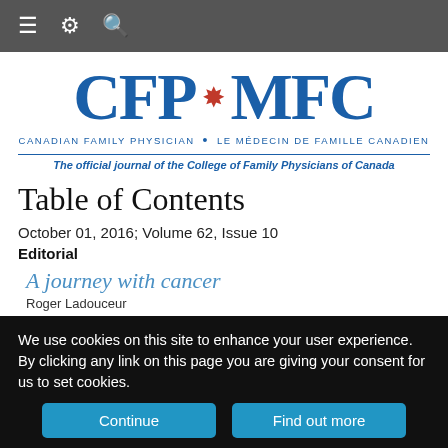Navigation bar with menu, settings, and search icons
[Figure (logo): CFP MFC Canadian Family Physician / Le Médecin de Famille Canadien logo with maple leaf, blue lettering, and tagline: The official journal of the College of Family Physicians of Canada]
Table of Contents
October 01, 2016; Volume 62, Issue 10
Editorial
A journey with cancer
Roger Ladouceur
We use cookies on this site to enhance your user experience. By clicking any link on this page you are giving your consent for us to set cookies.